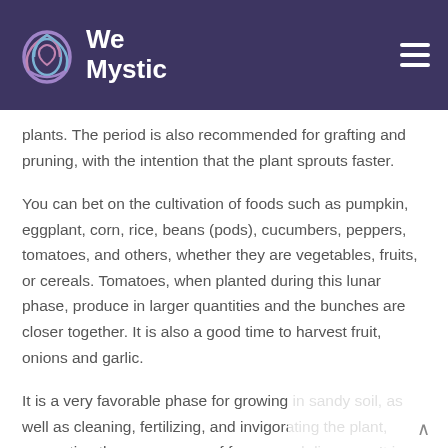We Mystic
plants. The period is also recommended for grafting and pruning, with the intention that the plant sprouts faster.
You can bet on the cultivation of foods such as pumpkin, eggplant, corn, rice, beans (pods), cucumbers, peppers, tomatoes, and others, whether they are vegetables, fruits, or cereals. Tomatoes, when planted during this lunar phase, produce in larger quantities and the bunches are closer together. It is also a good time to harvest fruit, onions and garlic.
It is a very favorable phase for growing in sandy soil, as well as cleaning, fertilizing, and invigorating the plant, preventing the appearance of fungus and diseases. It is not advisable to water flowers planted during the Crescent Moon...